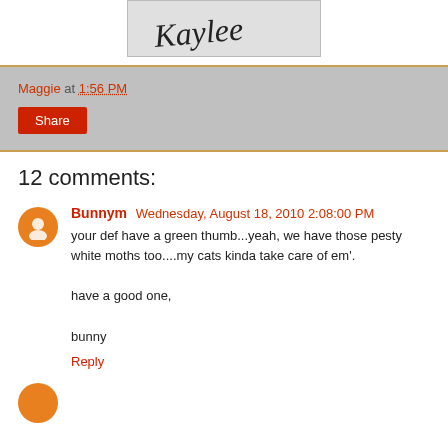[Figure (illustration): Partial image showing stylized brush-stroke text or signature in black on light gray background]
Maggie at 1:56 PM
Share
12 comments:
Bunnym  Wednesday, August 18, 2010 2:08:00 PM
your def have a green thumb...yeah, we have those pesty white moths too....my cats kinda take care of em'.

have a good one,

bunny
Reply